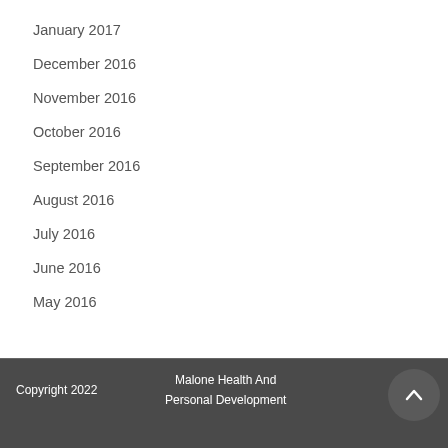January 2017
December 2016
November 2016
October 2016
September 2016
August 2016
July 2016
June 2016
May 2016
Copyright 2022    Malone Health And Personal Development